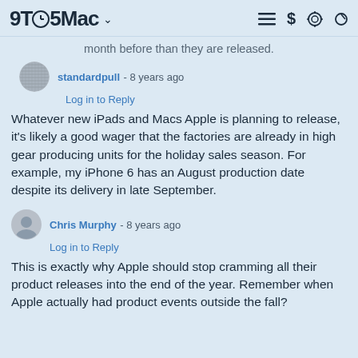9TO5Mac
month before than they are released.
standardpull - 8 years ago
Log in to Reply
Whatever new iPads and Macs Apple is planning to release, it's likely a good wager that the factories are already in high gear producing units for the holiday sales season. For example, my iPhone 6 has an August production date despite its delivery in late September.
Chris Murphy - 8 years ago
Log in to Reply
This is exactly why Apple should stop cramming all their product releases into the end of the year. Remember when Apple actually had product events outside the fall?